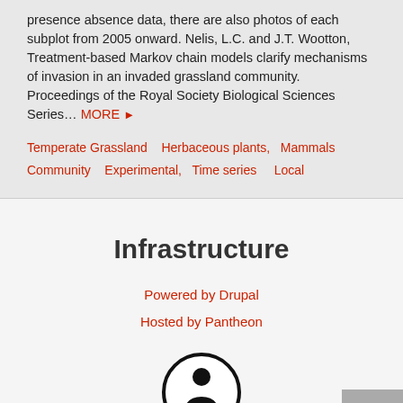presence absence data, there are also photos of each subplot from 2005 onward. Nelis, L.C. and J.T. Wootton, Treatment-based Markov chain models clarify mechanisms of invasion in an invaded grassland community. Proceedings of the Royal Society Biological Sciences Series… MORE ▶
Temperate Grassland   Herbaceous plants,  Mammals  Community    Experimental,  Time series    Local
Infrastructure
Powered by Drupal
Hosted by Pantheon
[Figure (illustration): Creative Commons attribution icon — circle with a person/figure silhouette inside]